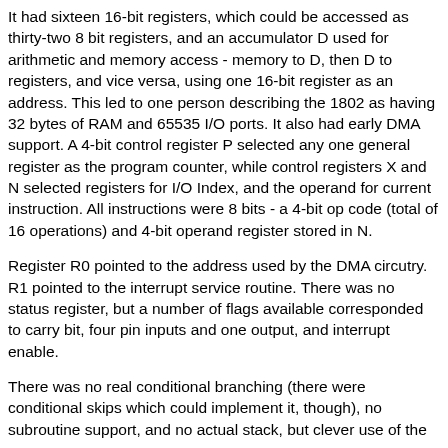It had sixteen 16-bit registers, which could be accessed as thirty-two 8 bit registers, and an accumulator D used for arithmetic and memory access - memory to D, then D to registers, and vice versa, using one 16-bit register as an address. This led to one person describing the 1802 as having 32 bytes of RAM and 65535 I/O ports. It also had early DMA support. A 4-bit control register P selected any one general register as the program counter, while control registers X and N selected registers for I/O Index, and the operand for current instruction. All instructions were 8 bits - a 4-bit op code (total of 16 operations) and 4-bit operand register stored in N.
Register R0 pointed to the address used by the DMA circutry. R1 pointed to the interrupt service routine. There was no status register, but a number of flags available corresponded to carry bit, four pin inputs and one output, and interrupt enable.
There was no real conditional branching (there were conditional skips which could implement it, though), no subroutine support, and no actual stack, but clever use of the register set allowed these to be implemented - for example, R2 was usually used for a stack pointer, and changing P to another register allowed jump to a subroutine. Similarly, on an interrupt P and X were saved (to register T), then R1 and R2